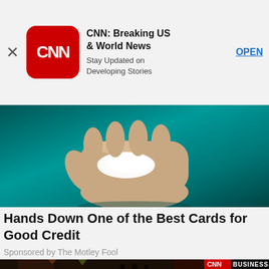[Figure (screenshot): App store advertisement banner for CNN: Breaking US & World News app with CNN logo, app name, tagline 'Stay Updated on Developing Stories', and OPEN button]
[Figure (photo): Photo of a hand held open against a teal/green background, associated with credit card article]
Hands Down One of the Best Cards for Good Credit
Sponsored by The Motley Fool
[Figure (photo): Photo of Moscow Red Square with Kremlin towers and crowds of people, with CNN Business logo badge overlay in top right corner]